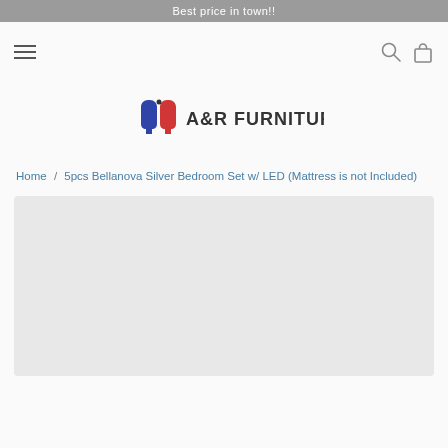Best price in town!!
[Figure (logo): A&R Furniture logo with stylized blue and red chair icon and text 'A&R FURNITURE']
Home / 5pcs Bellanova Silver Bedroom Set w/ LED (Mattress is not Included)
[Figure (photo): Product image placeholder - light gray rectangle]